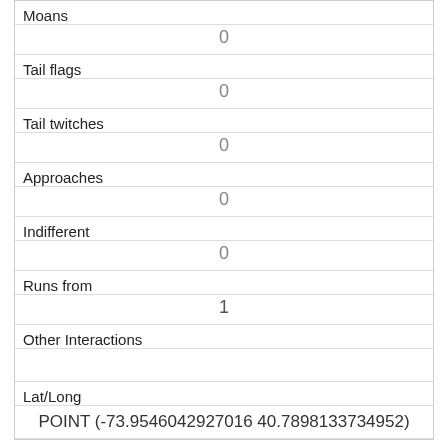| Moans | 0 |
| Tail flags | 0 |
| Tail twitches | 0 |
| Approaches | 0 |
| Indifferent | 0 |
| Runs from | 1 |
| Other Interactions |  |
| Lat/Long | POINT (-73.9546042927016 40.7898133734952) |
| Link | 331 |
| rowid | 331 |